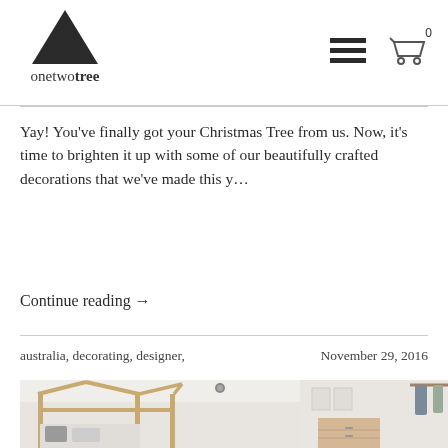onetwotree
Yay! You've finally got your Christmas Tree from us. Now, it's time to brighten it up with some of our beautifully crafted decorations that we've made this y...
Continue reading →
australia, decorating, designer,   November 29, 2016
[Figure (photo): A Scandinavian-style children's bedroom with a wooden house-frame bed, decorated with monochrome pillows and patterned bedding. On the right side, a light wood dresser and hanging coats/bags on a wall-mounted rack.]